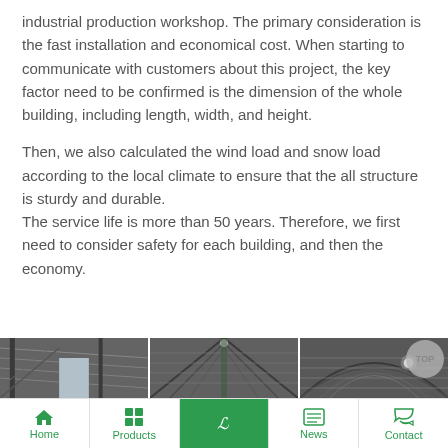industrial production workshop. The primary consideration is the fast installation and economical cost. When starting to communicate with customers about this project, the key factor need to be confirmed is the dimension of the whole building, including length, width, and height.
Then, we also calculated the wind load and snow load according to the local climate to ensure that the all structure is sturdy and durable. The service life is more than 50 years. Therefore, we first need to consider safety for each building, and then the economy.
[Figure (photo): Three side-by-side interior photos of a steel structure industrial workshop/warehouse showing roof trusses, metal roofing panels, steel columns, and interior lighting]
Home | Products | [active icon] | News | Contact